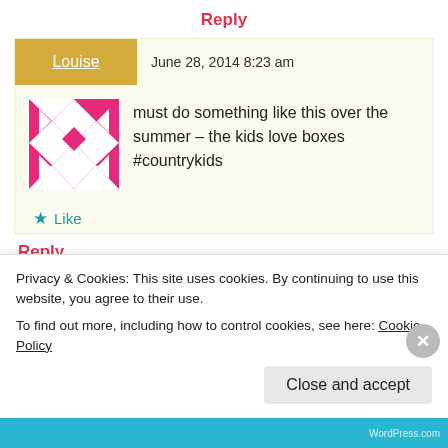Reply
Louise   June 28, 2014 8:23 am
[Figure (illustration): Pink and white geometric pattern avatar image for user Louise]
must do something like this over the summer – the kids love boxes #countrykids
★ Like
Reply
Privacy & Cookies: This site uses cookies. By continuing to use this website, you agree to their use.
To find out more, including how to control cookies, see here: Cookie Policy
Close and accept